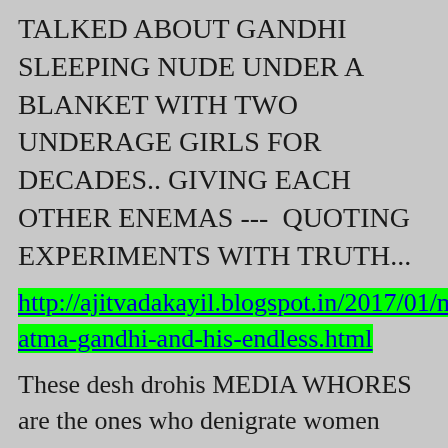TALKED ABOUT GANDHI SLEEPING NUDE UNDER A BLANKET WITH TWO UNDERAGE GIRLS FOR DECADES.. GIVING EACH OTHER ENEMAS ---  QUOTING EXPERIMENTS WITH TRUTH...
http://ajitvadakayil.blogspot.in/2017/01/mahatma-gandhi-and-his-endless.html
These desh drohis MEDIA WHORES are the ones who denigrate women daily in their newspapers with upskirt shots , wardrobe failure shots , even hairy armpit pictures